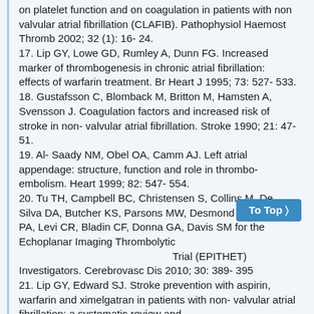on platelet function and on coagulation in patients with non valvular atrial fibrillation (CLAFIB). Pathophysiol Haemost Thromb 2002; 32 (1): 16- 24.
17. Lip GY, Lowe GD, Rumley A, Dunn FG. Increased marker of thrombogenesis in chronic atrial fibrillation: effects of warfarin treatment. Br Heart J 1995; 73: 527- 533.
18. Gustafsson C, Blomback M, Britton M, Hamsten A, Svensson J. Coagulation factors and increased risk of stroke in non- valvular atrial fibrillation. Stroke 1990; 21: 47- 51.
19. Al- Saady NM, Obel OA, Camm AJ. Left atrial appendage: structure, function and role in thrombo- embolism. Heart 1999; 82: 547- 554.
20. Tu TH, Campbell BC, Christensen S, Collins M, De Silva DA, Butcher KS, Parsons MW, Desmond PM, Barber PA, Levi CR, Bladin CF, Donna GA, Davis SM for the Echoplanar Imaging Thrombolytic Trial (EPITHET) Investigators. Cerebrovasc Dis 2010; 30: 389- 395
21. Lip GY, Edward SJ. Stroke prevention with aspirin, warfarin and ximelgatran in patients with non- valvular atrial fibrillation: a systematic review and